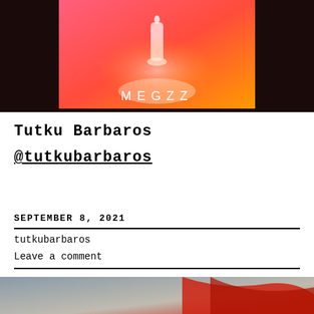[Figure (photo): Album/promotional image with pink-to-orange gradient background, a glowing white chess piece (queen), and the text MEGZZ at the bottom center, on a dark background]
Tutku Barbaros
@tutkubarbaros
SEPTEMBER 8, 2021
tutkubarbaros
Leave a comment
[Figure (photo): Bottom partial image showing a red/orange fabric or clothing item against a grey background]